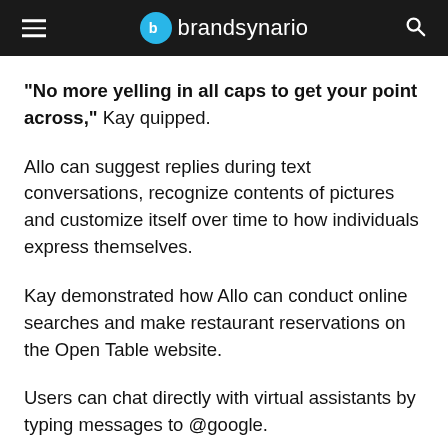brandsynario
“No more yelling in all caps to get your point across,” Kay quipped.
Allo can suggest replies during text conversations, recognize contents of pictures and customize itself over time to how individuals express themselves.
Kay demonstrated how Allo can conduct online searches and make restaurant reservations on the Open Table website.
Users can chat directly with virtual assistants by typing messages to @google.
Allo also allows for “incognito” chats that are encrypted